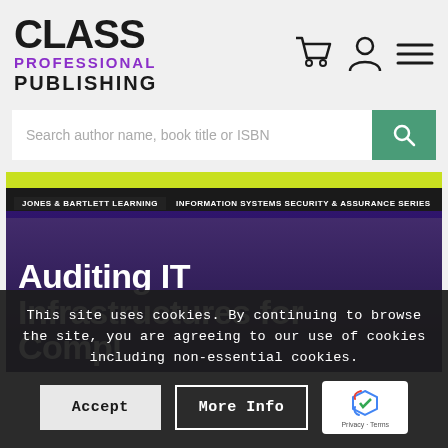[Figure (logo): Class Professional Publishing logo with 'CLASS' in large black text, 'PROFESSIONAL' in purple bold text, and 'PUBLISHING' in black bold text]
[Figure (screenshot): Navigation icons: shopping cart, user/account icon, and hamburger menu]
Search author name, book title or ISBN
[Figure (photo): Partial book cover for 'Auditing IT Infrastructures for Compliance' published by Jones & Bartlett Learning in the Information Systems Security & Assurance Series. Yellow-green top, dark purple bottom with white title text.]
This site uses cookies. By continuing to browse the site, you are agreeing to our use of cookies including non-essential cookies.
Accept
More Info